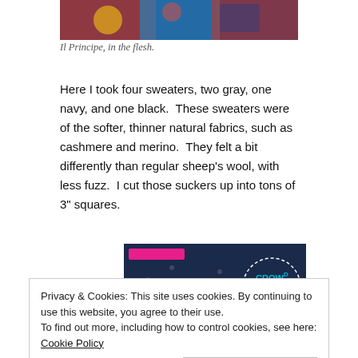[Figure (photo): Close-up photo of colorful children's toys or clothing items, partially visible at top of page]
Il Principe, in the flesh.
Here I took four sweaters, two gray, one navy, and one black.  These sweaters were of the softer, thinner natural fabrics, such as cashmere and merino.  They felt a bit differently than regular sheep’s wool, with less fuzz.  I cut those suckers up into tons of 3” squares.
[Figure (screenshot): Advertisement banner with dark navy background, pink bar, polka dots, and Crowd Signal logo in a dashed circle]
Privacy & Cookies: This site uses cookies. By continuing to use this website, you agree to their use. To find out more, including how to control cookies, see here: Cookie Policy
Close and accept